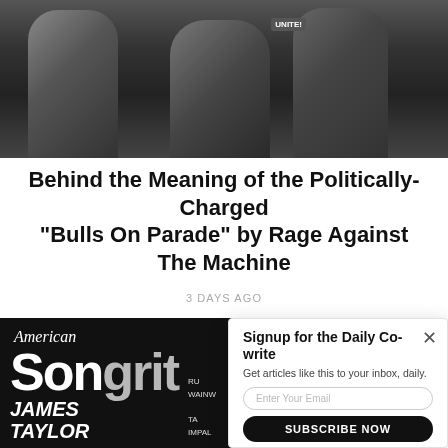[Figure (photo): Black and white photo of a band (Rage Against the Machine) with multiple members visible against a dark background]
Behind the Meaning of the Politically-Charged “Bulls On Parade” by Rage Against The Machine
3 DAYS AGO
[Figure (photo): American Songwriter magazine cover featuring James Taylor]
Signup for the Daily Co-write
Get articles like this to your inbox, daily.
NO THANKS